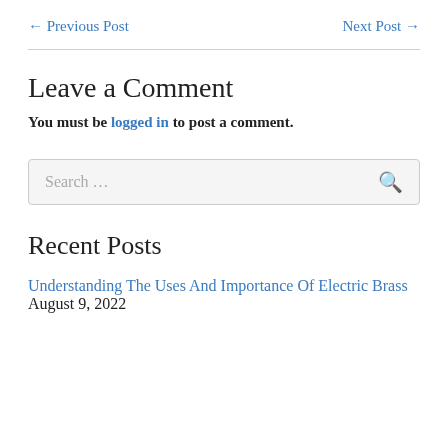← Previous Post    Next Post →
Leave a Comment
You must be logged in to post a comment.
Search ...
Recent Posts
Understanding The Uses And Importance Of Electric Brass  August 9, 2022